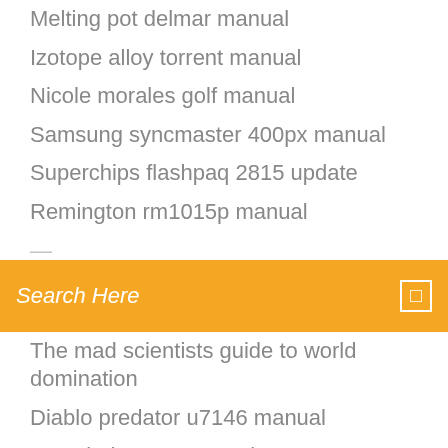Melting pot delmar manual
Izotope alloy torrent manual
Nicole morales golf manual
Samsung syncmaster 400px manual
Superchips flashpaq 2815 update
Remington rm1015p manual
[Figure (screenshot): Orange search bar with text 'Search Here' and a small icon on the right]
The mad scientists guide to world domination
Diablo predator u7146 manual
Dewalt d51275 manual
Ge adora series manual
Sonic wall 240 manual
Study guide answer key biology
Pure cycle samsung manual
Splendide 2000s troubleshooting manual
Honda civic 2006 manual
Flashing lights genius manual